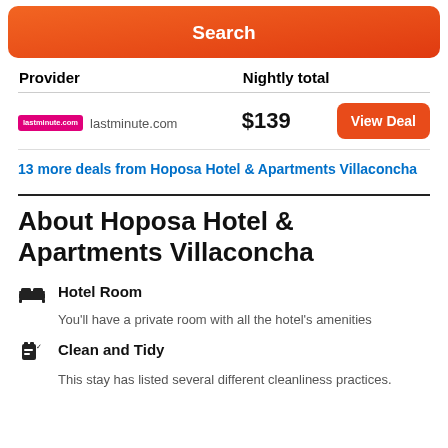Search
| Provider | Nightly total |  |
| --- | --- | --- |
| lastminute.com  lastminute.com | $139 | View Deal |
13 more deals from Hoposa Hotel & Apartments Villaconcha
About Hoposa Hotel & Apartments Villacocha
Hotel Room
You'll have a private room with all the hotel's amenities
Clean and Tidy
This stay has listed several different cleanliness practices.